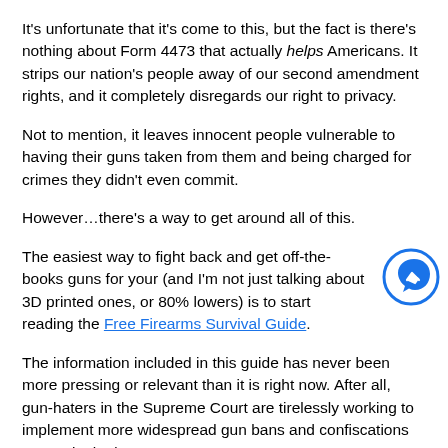It's unfortunate that it's come to this, but the fact is there's nothing about Form 4473 that actually helps Americans. It strips our nation's people away of our second amendment rights, and it completely disregards our right to privacy.
Not to mention, it leaves innocent people vulnerable to having their guns taken from them and being charged for crimes they didn't even commit.
However…there's a way to get around all of this.
The easiest way to fight back and get off-the-books guns for your (and I'm not just talking about 3D printed ones, or 80% lowers) is to start reading the Free Firearms Survival Guide.
The information included in this guide has never been more pressing or relevant than it is right now. After all, gun-haters in the Supreme Court are tirelessly working to implement more widespread gun bans and confiscations every single day.